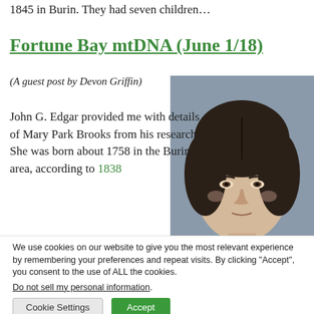1845 in Burin. They had seven children…
Fortune Bay mtDNA (June 1/18)
(A guest post by Devon Griffin)
John G. Edgar provided me with details of Mary Park Brooks from his research.  She was born about 1758 in the Burin area, according to 1838
[Figure (photo): Black and white portrait photograph of a woman with dark hair parted in the middle.]
We use cookies on our website to give you the most relevant experience by remembering your preferences and repeat visits. By clicking “Accept”, you consent to the use of ALL the cookies.
Do not sell my personal information.
[Cookie Settings] [Accept]